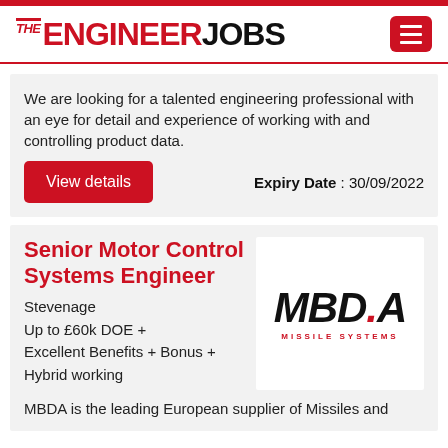THE ENGINEER JOBS
We are looking for a talented engineering professional with an eye for detail and experience of working with and controlling product data.
Expiry Date : 30/09/2022
View details
Senior Motor Control Systems Engineer
[Figure (logo): MBDA Missile Systems logo in black italic lettering with red dot and red subtitle text]
Stevenage
Up to £60k DOE + Excellent Benefits + Bonus + Hybrid working
MBDA is the leading European supplier of Missiles and